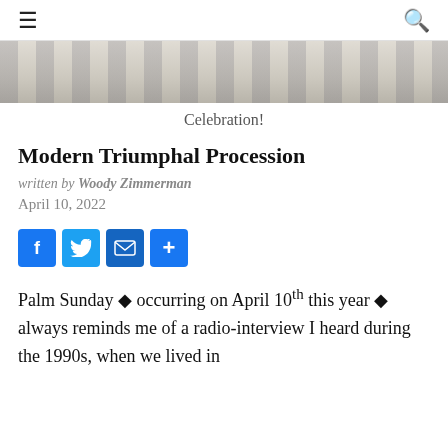☰  🔍
[Figure (photo): Partial photo of a crowd or procession, cropped to a horizontal strip]
Celebration!
Modern Triumphal Procession
written by Woody Zimmerman
April 10, 2022
[Figure (infographic): Social sharing buttons: Facebook, Twitter, Email, Share]
Palm Sunday ◆ occurring on April 10th this year ◆ always reminds me of a radio-interview I heard during the 1990s, when we lived in